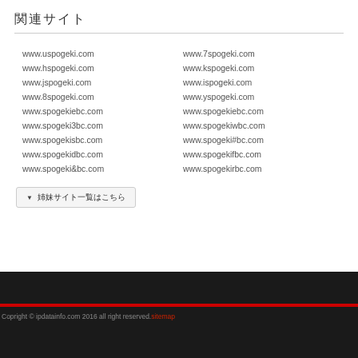関連サイト
www.uspogeki.com
www.hspogeki.com
www.jspogeki.com
www.8spogeki.com
www.spogekiebc.com
www.spogeki3bc.com
www.spogekisbc.com
www.spogekidbc.com
www.spogeki&bc.com
www.7spogeki.com
www.kspogeki.com
www.ispogeki.com
www.yspogeki.com
www.spogekiebc.com
www.spogekiwbc.com
www.spogeki#bc.com
www.spogekifbc.com
www.spogekirbc.com
▼ 姉妹サイト一覧はこちら
Copright © ipdatainfo.com 2016 all right reserved. sitemap